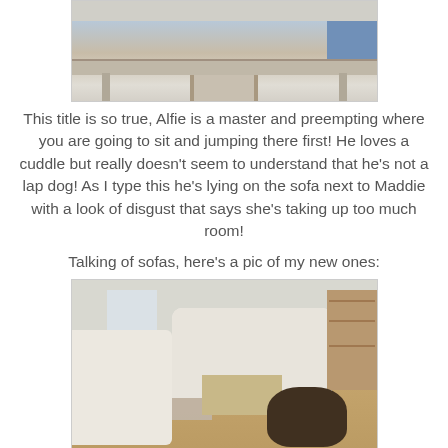[Figure (photo): Partial photo at top of page showing what appears to be furniture or a table leg, cropped at the top]
This title is so true, Alfie is a master and preempting where you are going to sit and jumping there first!  He loves a cuddle but really doesn't seem to understand that he's not a lap dog!  As I type this he's lying on the sofa next to Maddie with a look of disgust that says she's taking up too much room!
Talking of sofas, here's a pic of my new ones:
[Figure (photo): Photo of a living room with white/cream leather sofas, a dog (appears to be a German Shepherd mix) lying on the wooden floor, a small wooden coffee table, shelving unit on the right, and a window with natural light on the left]